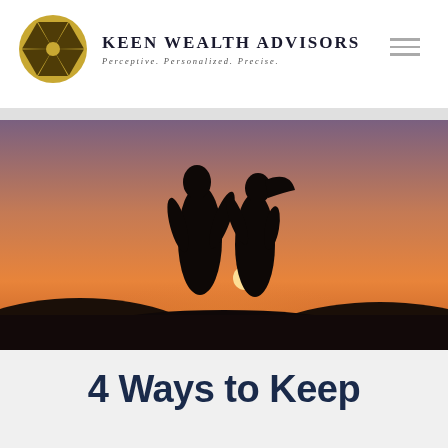Keen Wealth Advisors — Perceptive. Personalized. Precise.
[Figure (photo): Silhouette of a couple embracing against a warm sunset sky with rolling hills in the background]
4 Ways to Keep